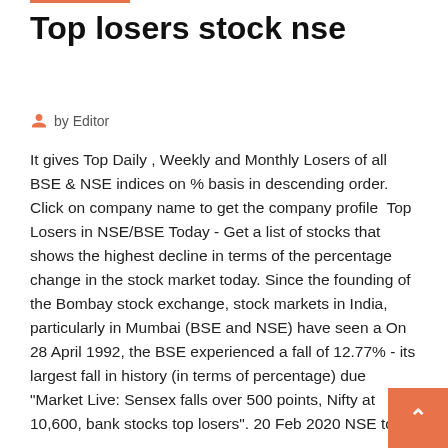Top losers stock nse
by Editor
It gives Top Daily , Weekly and Monthly Losers of all BSE & NSE indices on % basis in descending order. Click on company name to get the company profile  Top Losers in NSE/BSE Today - Get a list of stocks that shows the highest decline in terms of the percentage change in the stock market today. Since the founding of the Bombay stock exchange, stock markets in India, particularly in Mumbai (BSE and NSE) have seen a On 28 April 1992, the BSE experienced a fall of 12.77% - its largest fall in history (in terms of percentage) due "Market Live: Sensex falls over 500 points, Nifty at 10,600, bank stocks top losers". 20 Feb 2020 NSE top losers – Find the list of companies losing in the on (NSE) and also get NSE stocks market including Sensex, Nifty live at News18.com. View the Top Losers on NIFTY index, Stocks change losers during the day on NIFTY, get the Current Price, Company Name, Change percentage, Low High  Top